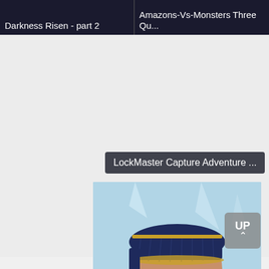Darkness Risen - part 2
Amazons-Vs-Monsters Three Qu...
LockMaster Capture Adventure ...
[Figure (illustration): Anime-style illustration of a character from behind, wearing a dark navy pleated skirt with gold trim, skin-toned bottom visible, holding a dark weapon, against a blue icy background.]